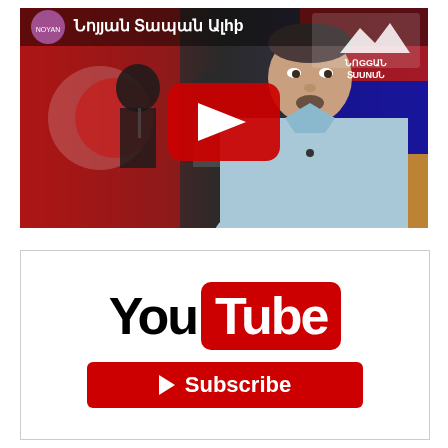[Figure (screenshot): YouTube video thumbnail showing Armenian text title 'Նոյյան Տապան Ալhþ' with a man in light blue shirt in foreground, political figures in background with Turkish and Armenian flags, red YouTube play button overlay, and 'Նոggան Տuunuն' logo in top right corner.]
[Figure (logo): YouTube logo with 'You' in black text and 'Tube' in white text on red rounded rectangle, with a red Subscribe button below containing a white play triangle and 'Subscribe' text. All inside a bordered white box.]